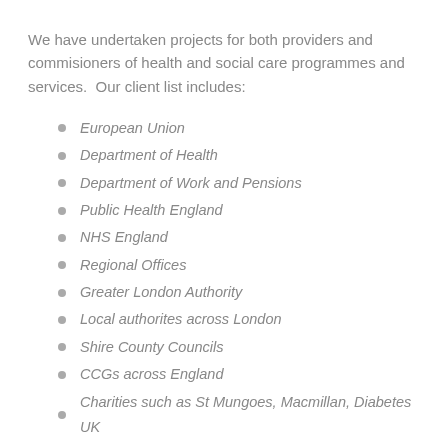We have undertaken projects for both providers and commisioners of health and social care programmes and services.  Our client list includes:
European Union
Department of Health
Department of Work and Pensions
Public Health England
NHS England
Regional Offices
Greater London Authority
Local authorites across London
Shire County Councils
CCGs across England
Charities such as St Mungoes, Macmillan, Diabetes UK
A number of International projects